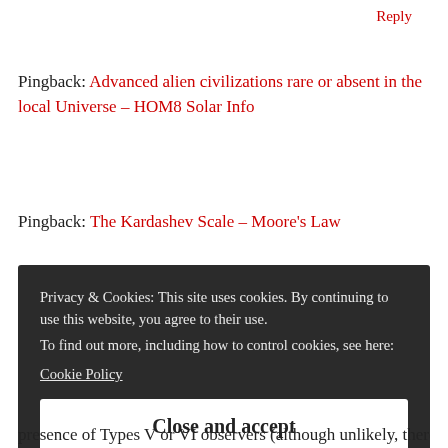Reply
Pingback: Advanced alien civilizations rare or absent in the local Universe – HOM8 Solar Info
Pingback: The Kardashev Scale – Moore's Law
Privacy & Cookies: This site uses cookies. By continuing to use this website, you agree to their use.
To find out more, including how to control cookies, see here:
Cookie Policy
Close and accept
presence of Types V or VI observers (although unlikely, there